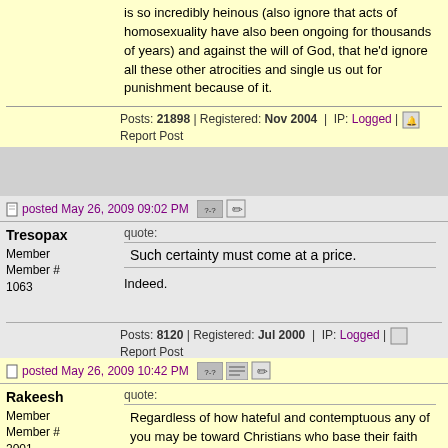is so incredibly heinous (also ignore that acts of homosexuality have also been ongoing for thousands of years) and against the will of God, that he'd ignore all these other atrocities and single us out for punishment because of it.
Posts: 21898 | Registered: Nov 2004 | IP: Logged | Report Post
Tresopax
Member
Member # 1063
posted May 26, 2009 09:02 PM
quote:
Such certainty must come at a price.
Indeed.
Posts: 8120 | Registered: Jul 2000 | IP: Logged | Report Post
Rakeesh
Member
Member # 2001
posted May 26, 2009 10:42 PM
quote:
Regardless of how hateful and contemptuous any of you may be toward Christians who base their faith and belief system on the Bible, we do still exist, and are a large and legitimate social group in America. The founders of our country were almost all avowed Christians, and you only have to consult what they actually wrote to